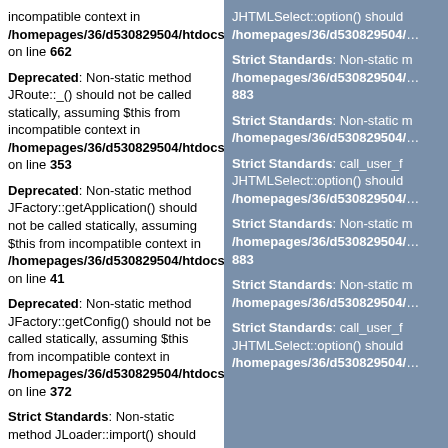incompatible context in /homepages/36/d530829504/htdocs/a on line 662
Deprecated: Non-static method JRoute::_() should not be called statically, assuming $this from incompatible context in /homepages/36/d530829504/htdocs/a on line 353
Deprecated: Non-static method JFactory::getApplication() should not be called statically, assuming $this from incompatible context in /homepages/36/d530829504/htdocs/a on line 41
Deprecated: Non-static method JFactory::getConfig() should not be called statically, assuming $this from incompatible context in /homepages/36/d530829504/htdocs/a on line 372
Strict Standards: Non-static method JLoader::import() should not be called statically in /homepages/36/d530829504/htdocs/a
JHTMLSelect::option() should /homepages/36/d530829504/...
Strict Standards: Non-static /homepages/36/d530829504/... 883
Strict Standards: Non-static /homepages/36/d530829504/...
Strict Standards: call_user_f JHTMLSelect::option() should /homepages/36/d530829504/...
Strict Standards: Non-static /homepages/36/d530829504/... 883
Strict Standards: Non-static /homepages/36/d530829504/...
Strict Standards: call_user_f JHTMLSelect::option() should /homepages/36/d530829504/...